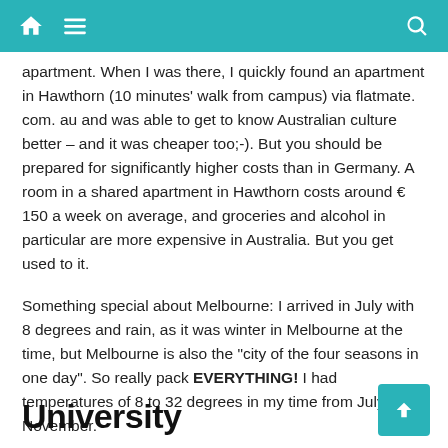Navigation bar with home, menu, and search icons
apartment. When I was there, I quickly found an apartment in Hawthorn (10 minutes' walk from campus) via flatmate. com. au and was able to get to know Australian culture better – and it was cheaper too;-). But you should be prepared for significantly higher costs than in Germany. A room in a shared apartment in Hawthorn costs around € 150 a week on average, and groceries and alcohol in particular are more expensive in Australia. But you get used to it.
Something special about Melbourne: I arrived in July with 8 degrees and rain, as it was winter in Melbourne at the time, but Melbourne is also the "city of the four seasons in one day". So really pack EVERYTHING! I had temperatures of 8 to 32 degrees in my time from July to November.
University